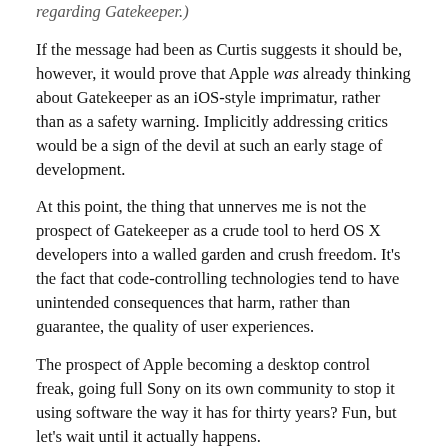regarding Gatekeeper.)
If the message had been as Curtis suggests it should be, however, it would prove that Apple was already thinking about Gatekeeper as an iOS-style imprimatur, rather than as a safety warning. Implicitly addressing critics would be a sign of the devil at such an early stage of development.
At this point, the thing that unnerves me is not the prospect of Gatekeeper as a crude tool to herd OS X developers into a walled garden and crush freedom. It's the fact that code-controlling technologies tend to have unintended consequences that harm, rather than guarantee, the quality of user experiences.
The prospect of Apple becoming a desktop control freak, going full Sony on its own community to stop it using software the way it has for thirty years? Fun, but let's wait until it actually happens.
The truth is that Macs don't currently suffer much from malicious software, and DRM-esque lockouts are also missing so far, let's bear in mind for DRM-